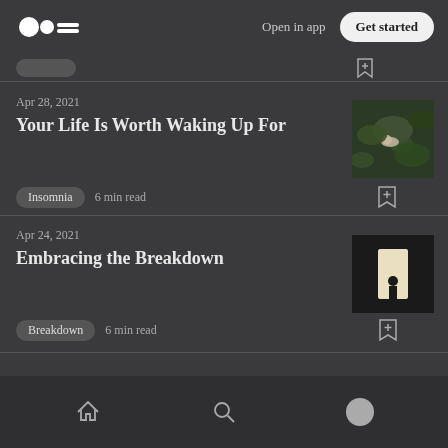Medium logo | Open in app | Get started
Apr 28, 2021
Your Life Is Worth Waking Up For
Insomnia  6 min read
[Figure (photo): Dark photo of a person lying on the ground among green foliage, viewed from above]
Apr 24, 2021
Embracing the Breakdown
Breakdown  6 min read
[Figure (photo): Silhouette of a person standing in a bright doorway or tunnel opening]
Home | Search | Profile